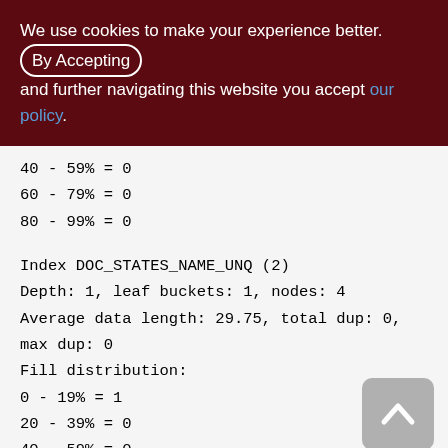We use cookies to make your experience better. By Accepting and further navigating this website you accept our policy.
40 - 59% = 0
60 - 79% = 0
80 - 99% = 0
Index DOC_STATES_NAME_UNQ (2)
Depth: 1, leaf buckets: 1, nodes: 4
Average data length: 29.75, total dup: 0, max dup: 0
Fill distribution:
0 - 19% = 1
20 - 39% = 0
40 - 59% = 0